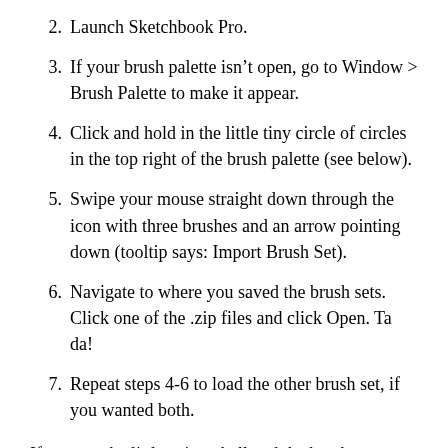2. Launch Sketchbook Pro.
3. If your brush palette isn’t open, go to Window > Brush Palette to make it appear.
4. Click and hold in the little tiny circle of circles in the top right of the brush palette (see below).
5. Swipe your mouse straight down through the icon with three brushes and an arrow pointing down (tooltip says: Import Brush Set).
6. Navigate to where you saved the brush sets. Click one of the .zip files and click Open. Ta da!
7. Repeat steps 4-6 to load the other brush set, if you wanted both.
If you get the little spinny ball and the brush set doesn’t load the first time, don’t panic. Repeat